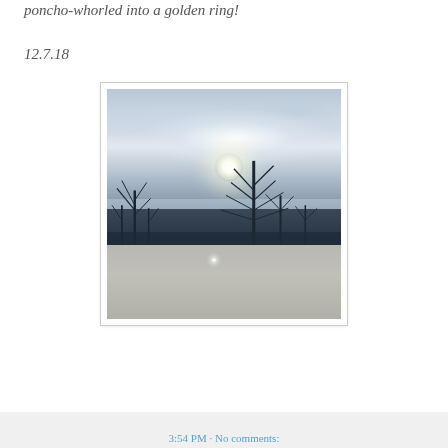poncho-whorled into a golden ring!
12.7.18
[Figure (photo): Winter landscape photo showing snowy field with bare trees silhouetted against a cloudy sky with bright sun visible through clouds]
3:54 PM · No comments: